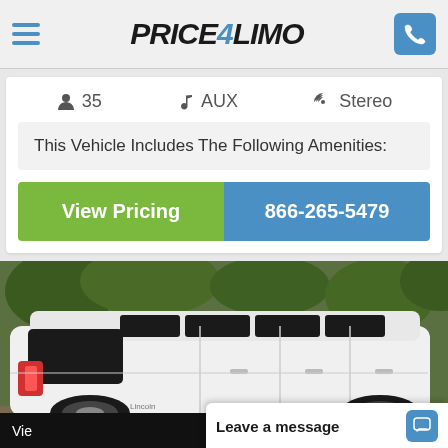Price4Limo
35  AUX  Stereo
This Vehicle Includes The Following Amenities:
View Pricing
866-265-5479
[Figure (photo): White stretch limousine (Lincoln MKT) photographed from rear-left angle in a parking area with trees in background]
Vie...
Leave a message